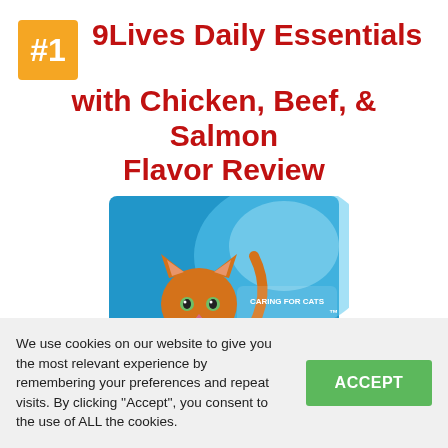#1 9Lives Daily Essentials with Chicken, Beef, & Salmon Flavor Review
[Figure (photo): 9Lives Daily Essentials dry cat food bag in blue, featuring an orange tabby cat and the 9Lives logo with 'Caring for Cats Since 1959']
We use cookies on our website to give you the most relevant experience by remembering your preferences and repeat visits. By clicking ''Accept'', you consent to the use of ALL the cookies.